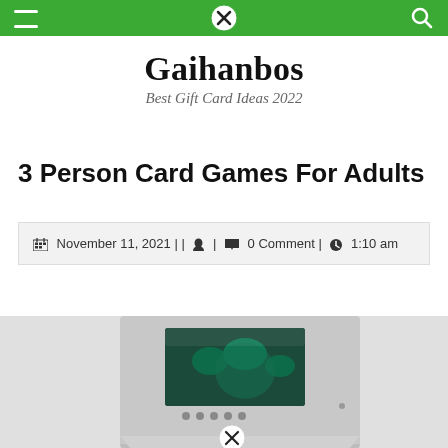Gaihanbos - Best Gift Card Ideas 2022 (navigation bar)
Gaihanbos
Best Gift Card Ideas 2022
3 Person Card Games For Adults
November 11, 2021 | | 👤 | 💬 0 Comment | ⏰ 1:10 am
[Figure (photo): A silver video greeting card device open at an angle, showing a small screen displaying a nature scene with birds, and navigation buttons below the screen. The card is partially open with a flap folded back. A close/cancel button appears at the bottom center.]